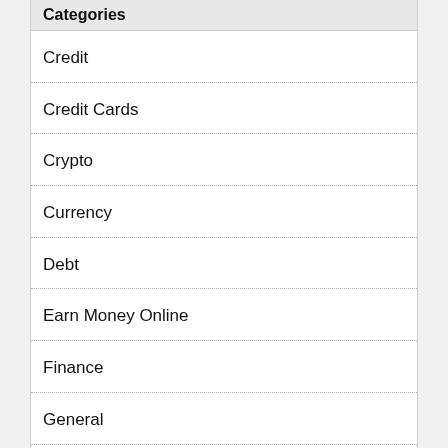Categories
Credit
Credit Cards
Crypto
Currency
Debt
Earn Money Online
Finance
General
Health
Insurance
Investment
IT
Lifestyle